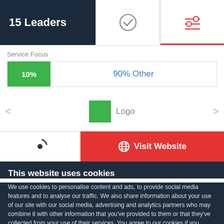15 Leaders
[Figure (screenshot): Navigation tab with checkmark icon (active/inactive tab)]
[Figure (screenshot): Navigation tab with filter/settings icon (currently active, underlined in red)]
Service Focus
[Figure (stacked-bar-chart): Service Focus]
[Figure (logo): Green square logo placeholder with text 'Logo', left and right arrows for navigation]
[Figure (screenshot): Clutch logo/icon (circular C symbol)]
Visit Website
This website uses cookies
We use cookies to personalise content and ads, to provide social media features and to analyse our traffic. We also share information about your use of our site with our social media, advertising and analytics partners who may combine it with other information that you've provided to them or that they've collected from your use of their services. You agree to our cookies if you continue to use our website.
Close
Show details